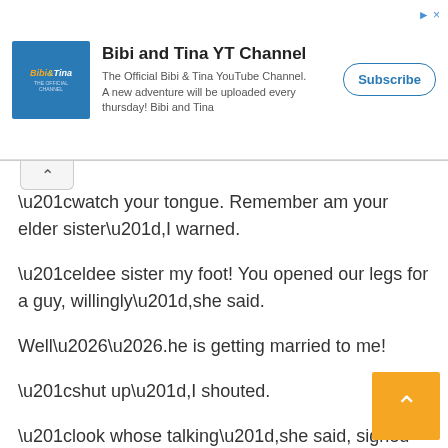[Figure (infographic): YouTube channel advertisement banner for Bibi and Tina YT Channel. Shows logo, channel description, and Subscribe button.]
“watch your tongue. Remember am your elder sister”,I warned.
“eldee sister my foot! You opened our legs for a guy, willingly”,she said.
Well…….he is getting married to me!
“shut up”,I shouted.
“look whose talking”,she said, signed and left.
But he loves Mme.m….am sure!
????The next morning????
I dressed up, and walked downstairs.